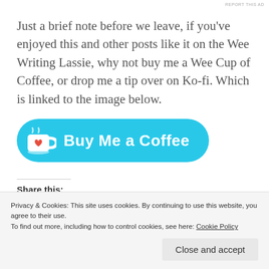REPORT THIS AD
Just a brief note before we leave, if you’ve enjoyed this and other posts like it on the Wee Writing Lassie, why not buy me a Wee Cup of Coffee, or drop me a tip over on Ko-fi. Which is linked to the image below.
[Figure (other): Buy Me a Coffee button: cyan/turquoise rounded rectangle with a white coffee cup icon containing a red heart, and white bold text reading 'Buy Me a Coffee']
Share this:
Twitter Facebook Reddit Tumblr
Privacy & Cookies: This site uses cookies. By continuing to use this website, you agree to their use.
To find out more, including how to control cookies, see here: Cookie Policy
Close and accept